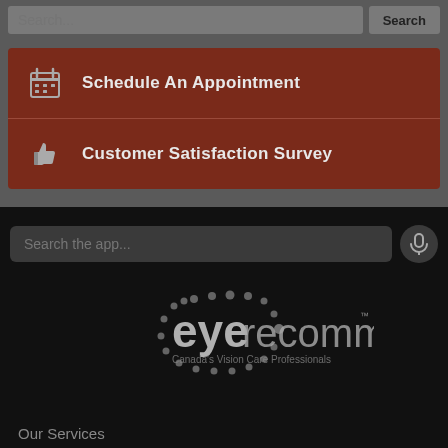[Figure (screenshot): Search bar at top with text input and Search button on gray background]
Schedule An Appointment
Customer Satisfaction Survey
[Figure (screenshot): Search the app input field with microphone icon on dark background]
[Figure (logo): Eye Recommend logo - Canada's Vision Care Professionals]
Our Services
Locate Us